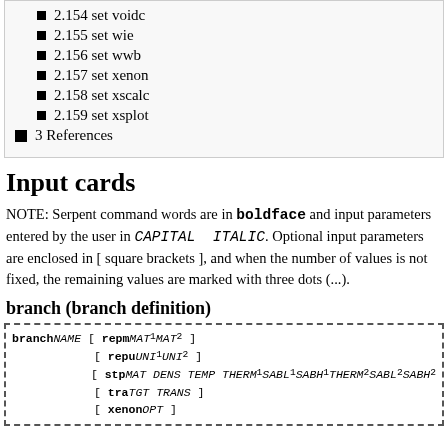2.154 set voidc
2.155 set wie
2.156 set wwb
2.157 set xenon
2.158 set xscalc
2.159 set xsplot
3 References
Input cards
NOTE: Serpent command words are in boldface and input parameters entered by the user in CAPITAL ITALIC. Optional input parameters are enclosed in [ square brackets ], and when the number of values is not fixed, the remaining values are marked with three dots (...).
branch (branch definition)
branch NAME [ repm MAT1 MAT2 ]
[ repu UNI1 UNI2 ]
[ stp MAT DENS TEMP THERM1 SABL1 SABH1 THERM2 SABL2 SABH2 ]
[ tra TGT TRANS ]
[ xenon OPT ]